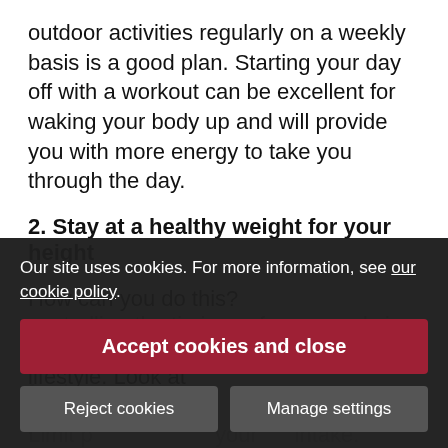outdoor activities regularly on a weekly basis is a good plan. Starting your day off with a workout can be excellent for waking your body up and will provide you with more energy to take you through the day.
2. Stay at a healthy weight for your height
How can you do this?
You need a well-balanced eating lifestyle. Look at controlling the timings of your meals in relation to much. Yes, you can over the festive period!
Limit p your intake. Don't eat to the point that you are full, eat to the point w s.
Our site uses cookies. For more information, see our cookie policy.